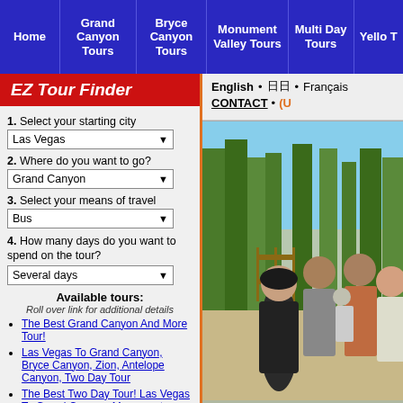Navigation: Home | Grand Canyon Tours | Bryce Canyon Tours | Monument Valley Tours | Multi Day Tours | Yello T
EZ Tour Finder
1. Select your starting city
Las Vegas
2. Where do you want to go?
Grand Canyon
3. Select your means of travel
Bus
4. How many days do you want to spend on the tour?
Several days
Available tours:
Roll over link for additional details
The Best Grand Canyon And More Tour!
Las Vegas To Grand Canyon, Bryce Canyon, Zion, Antelope Canyon, Two Day Tour
The Best Two Day Tour! Las Vegas To Grand Canyon, Monument Valley, Bryce Canyon, Zion, Antelope Canyon, Navajo
English • 日日 • Français
CONTACT • (U
[Figure (photo): Group of young people standing outdoors near trees and a fence, sunny day]